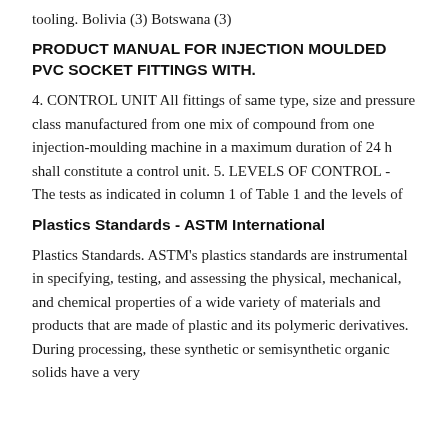tooling. Bolivia (3) Botswana (3)
PRODUCT MANUAL FOR INJECTION MOULDED PVC SOCKET FITTINGS WITH.
4. CONTROL UNIT All fittings of same type, size and pressure class manufactured from one mix of compound from one injection-moulding machine in a maximum duration of 24 h shall constitute a control unit. 5. LEVELS OF CONTROL - The tests as indicated in column 1 of Table 1 and the levels of
Plastics Standards - ASTM International
Plastics Standards. ASTM's plastics standards are instrumental in specifying, testing, and assessing the physical, mechanical, and chemical properties of a wide variety of materials and products that are made of plastic and its polymeric derivatives. During processing, these synthetic or semisynthetic organic solids have a very